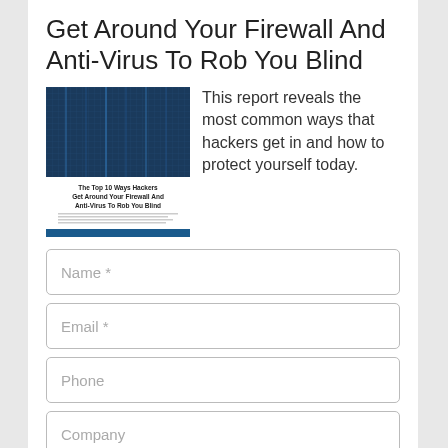Get Around Your Firewall And Anti-Virus To Rob You Blind
[Figure (illustration): Book cover showing 'The Top 10 Ways Hackers Get Around Your Firewall And Anti-Virus To Rob You Blind' with a dark blue digital background and text body content below the title]
This report reveals the most common ways that hackers get in and how to protect yourself today.
Name *
Email *
Phone
Company
DOWNLOAD NOW